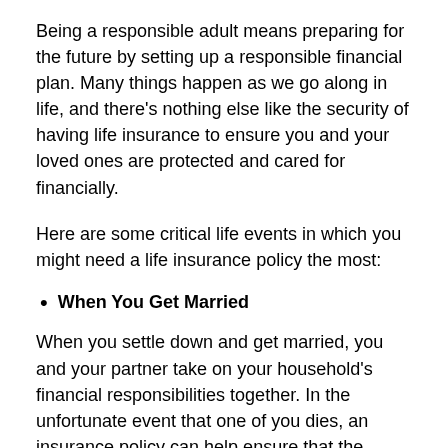Being a responsible adult means preparing for the future by setting up a responsible financial plan. Many things happen as we go along in life, and there's nothing else like the security of having life insurance to ensure you and your loved ones are protected and cared for financially.
Here are some critical life events in which you might need a life insurance policy the most:
When You Get Married
When you settle down and get married, you and your partner take on your household's financial responsibilities together. In the unfortunate event that one of you dies, an insurance policy can help ensure that the spouse who is left behind has the financial capacity to maintain their family's standard of living. The death benefits gained from a policy can also be used to